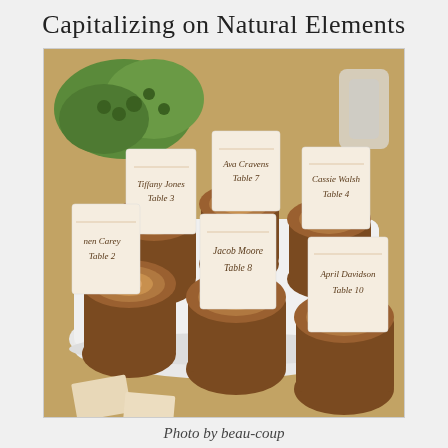Capitalizing on Natural Elements
[Figure (photo): Photo of rustic wood slice place card holders arranged on a white tray, each holding a kraft paper place card with hand-lettered guest names and table numbers (Tiffany Jones Table 3, Ava Cravens Table 7, Cassie Walsh Table 4, Nen Carey Table 2, Jacob Moore Table 8, April Davidson Table 10). Green foliage visible in background. Tray sits on a gold/champagne textured surface.]
Photo by beau-coup